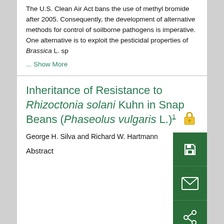The U.S. Clean Air Act bans the use of methyl bromide after 2005. Consequently, the development of alternative methods for control of soilborne pathogens is imperative. One alternative is to exploit the pesticidal properties of Brassica L. sp
... Show More
Inheritance of Resistance to Rhizoctonia solani Kuhn in Snap Beans (Phaseolus vulgaris L.)1
George H. Silva and Richard W. Hartmann
Abstract